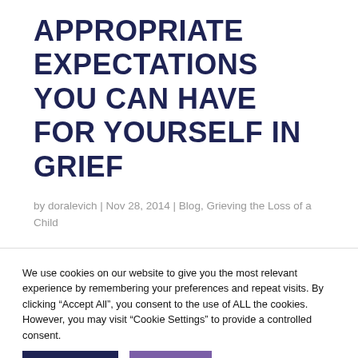APPROPRIATE EXPECTATIONS YOU CAN HAVE FOR YOURSELF IN GRIEF
by doralevich | Nov 28, 2014 | Blog, Grieving the Loss of a Child
We use cookies on our website to give you the most relevant experience by remembering your preferences and repeat visits. By clicking "Accept All", you consent to the use of ALL the cookies. However, you may visit "Cookie Settings" to provide a controlled consent.